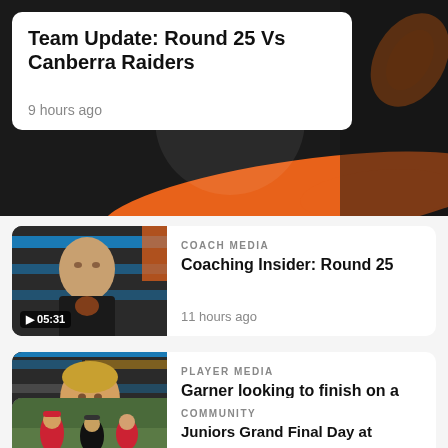Team Update: Round 25 Vs Canberra Raiders
9 hours ago
[Figure (photo): Coach at press conference with sponsor banners behind, media card for Coaching Insider: Round 25]
COACH MEDIA
Coaching Insider: Round 25
11 hours ago
[Figure (photo): Player smiling at press conference with sponsor banners behind, media card for Garner looking to finish on a win]
PLAYER MEDIA
Garner looking to finish on a win
12 hours ago
[Figure (photo): Junior rugby league players on field, community card]
COMMUNITY
Juniors Grand Final Day at